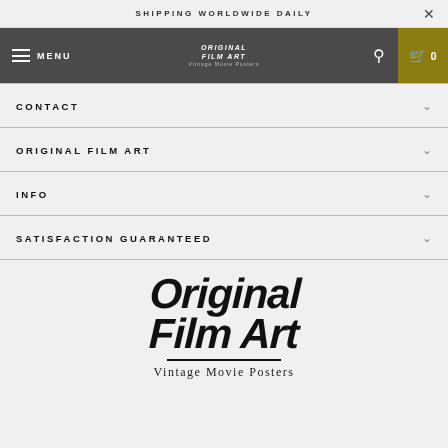SHIPPING WORLDWIDE DAILY
MENU  ORIGINAL FILM ART Vintage Movie Posters  0
CONTACT
ORIGINAL FILM ART
INFO
SATISFACTION GUARANTEED
[Figure (logo): Original Film Art - Vintage Movie Posters logo in large bold italic handwritten style text with underline]